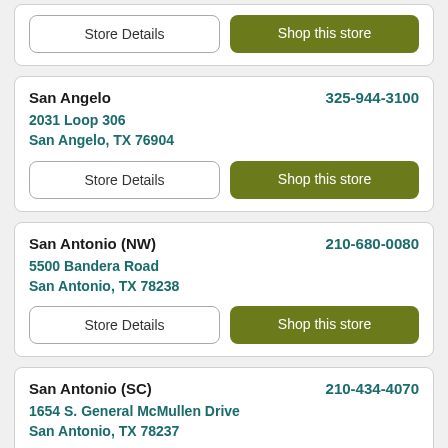Store Details | Shop this store (partial top card)
San Angelo | 325-944-3100 | 2031 Loop 306, San Angelo, TX 76904
San Antonio (NW) | 210-680-0080 | 5500 Bandera Road, San Antonio, TX 78238
San Antonio (SC) | 210-434-4070 | 1654 S. General McMullen Drive, San Antonio, TX 78237
San Antonio (SE) | 210-532-5556 (partial bottom card)